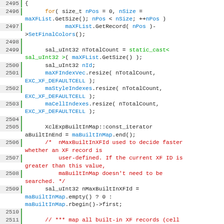[Figure (screenshot): Source code listing in a code editor showing C++ code lines 2495-2515 with syntax highlighting. Line numbers shown on the left with a green border. Keywords in orange, comments in red, identifiers in blue/cyan, green for cast keywords.]